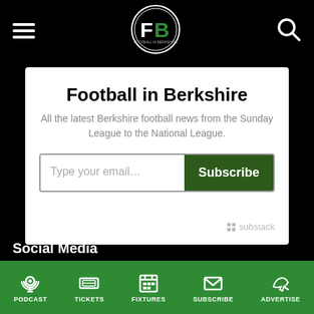[Figure (logo): Football in Berkshire (FiB) circular logo with FB letters, white circle on black background]
Football in Berkshire
All the latest Berkshire football news from the Sunday League to the National League.
Type your email... Subscribe
substack
Social Media
PODCAST TICKETS FIXTURES SUBSCRIBE ADVERTISE